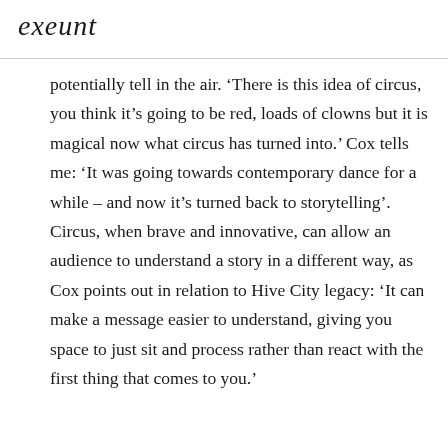exeunt
potentially tell in the air. ‘There is this idea of circus, you think it’s going to be red, loads of clowns but it is magical now what circus has turned into.’ Cox tells me: ‘It was going towards contemporary dance for a while – and now it’s turned back to storytelling’. Circus, when brave and innovative, can allow an audience to understand a story in a different way, as Cox points out in relation to Hive City legacy: ‘It can make a message easier to understand, giving you space to just sit and process rather than react with the first thing that comes to you.’